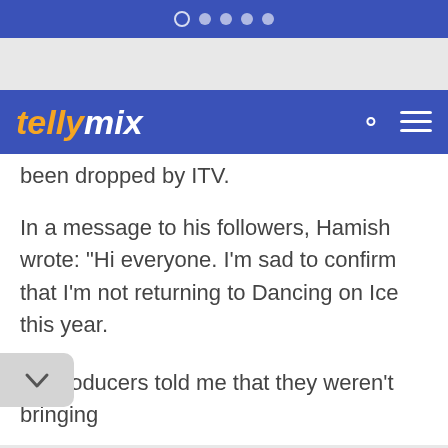tellymix
been dropped by ITV.
In a message to his followers, Hamish wrote: "Hi everyone. I'm sad to confirm that I'm not returning to Dancing on Ice this year.
he producers told me that they weren't bringing